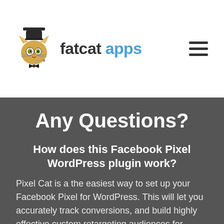fatcat apps
Any Questions?
How does this Facebook Pixel WordPress plugin work?
Pixel Cat is a the easiest way to set up your Facebook Pixel for WordPress. This will let you accurately track conversions, and build highly effective custom retargeting audiences for retargeting